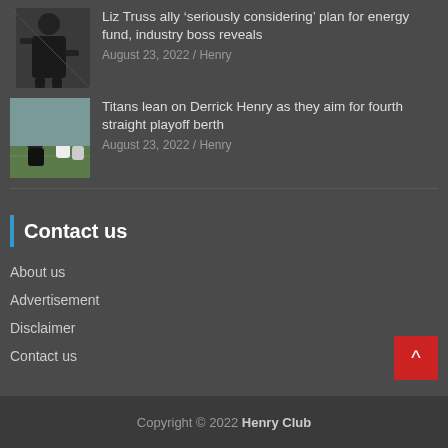[Figure (photo): Man in dark suit walking outdoors]
Liz Truss ally ‘seriously considering’ plan for energy fund, industry boss reveals
August 23, 2022 / Henry
[Figure (photo): Football players on a field during practice or game]
Titans lean on Derrick Henry as they aim for fourth straight playoff berth
August 23, 2022 / Henry
Contact us
About us
Advertisement
Disclaimer
Contact us
Copyright © 2022 Henry Club